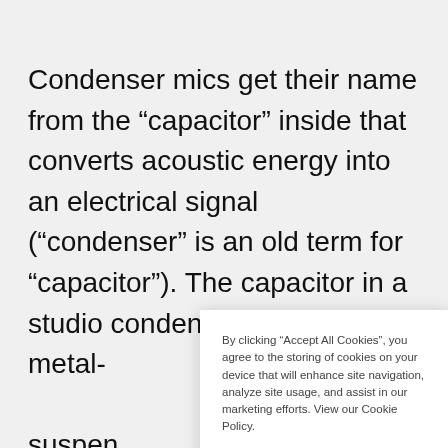Condenser mics get their name from the “capacitor” inside that converts acoustic energy into an electrical signal (“condenser” is an old term for “capacitor”). The capacitor in a studio condenser microp metal- suspen to each across One of
By clicking “Accept All Cookies”, you agree to the storing of cookies on your device that will enhance site navigation, analyze site usage, and assist in our marketing efforts. View our Cookie Policy.
Cookie Settings | Accept All